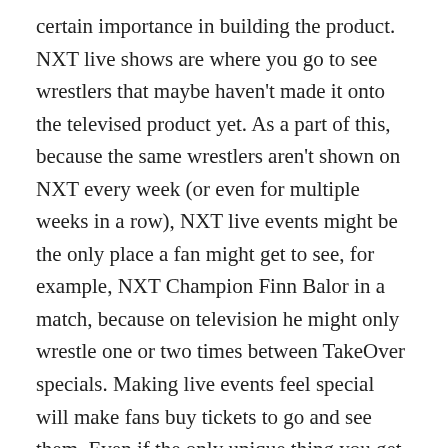certain importance in building the product. NXT live shows are where you go to see wrestlers that maybe haven't made it onto the televised product yet. As a part of this, because the same wrestlers aren't shown on NXT every week (or even for multiple weeks in a row), NXT live events might be the only place a fan might get to see, for example, NXT Champion Finn Balor in a match, because on television he might only wrestle one or two times between TakeOver specials. Making live events feel special will make fans buy tickets to go and see them. Even if the only unique thing you get to see is Balor accidentally hitting the ceiling of the venue. No, seriously, check this out:
1. It's Okay To Shift Your Focus